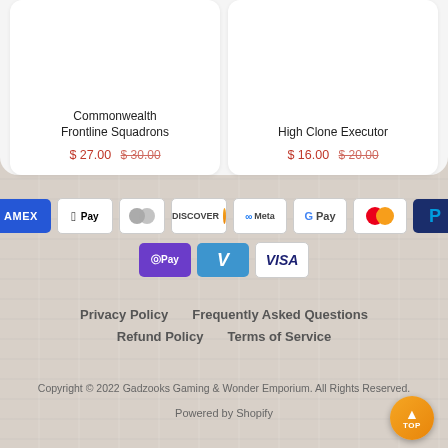Commonwealth Frontline Squadrons
$ 27.00 $ 30.00
High Clone Executor
$ 16.00 $ 20.00
[Figure (infographic): Payment method icons: AMEX, Apple Pay, Diners Club, Discover, Meta, Google Pay, Mastercard, PayPal, OPay, Venmo, Visa]
Privacy Policy
Frequently Asked Questions
Refund Policy
Terms of Service
Copyright © 2022 Gadzooks Gaming & Wonder Emporium. All Rights Reserved.
Powered by Shopify